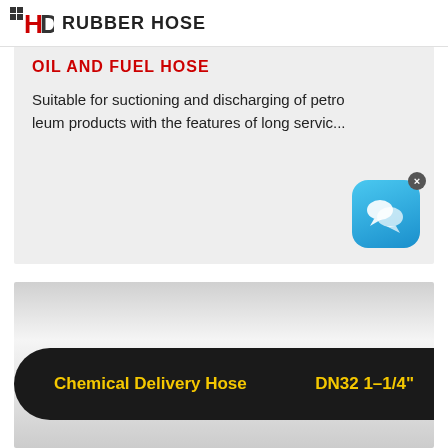HD RUBBER HOSE
OIL AND FUEL HOSE
Suitable for suctioning and discharging of petroleum products with the features of long servic...
[Figure (photo): Chemical Delivery Hose product image — black rubber hose with yellow text reading 'Chemical Delivery Hose   DN32 1-1/4"']